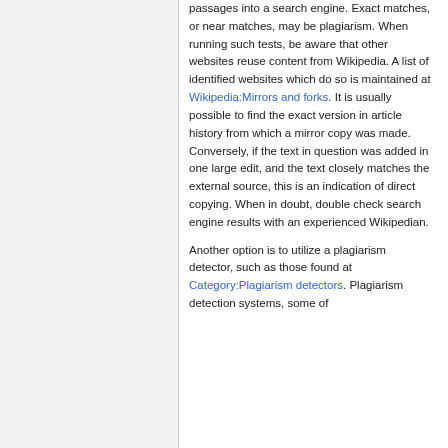passages into a search engine. Exact matches, or near matches, may be plagiarism. When running such tests, be aware that other websites reuse content from Wikipedia. A list of identified websites which do so is maintained at Wikipedia:Mirrors and forks. It is usually possible to find the exact version in article history from which a mirror copy was made. Conversely, if the text in question was added in one large edit, and the text closely matches the external source, this is an indication of direct copying. When in doubt, double check search engine results with an experienced Wikipedian.
Another option is to utilize a plagiarism detector, such as those found at Category:Plagiarism detectors. Plagiarism detection systems, some of